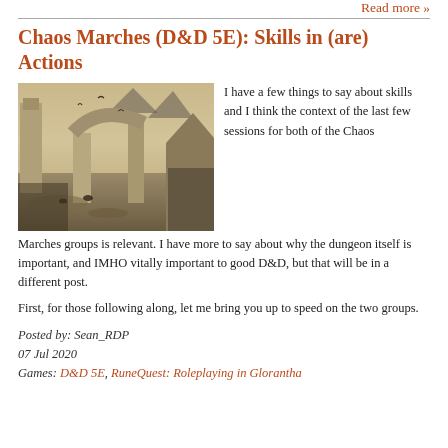Read more »
Chaos Marches (D&D 5E): Skills in (are) Actions
[Figure (photo): Fantasy ruins scene with large stone archways in a desert landscape, birds flying overhead, dark volcanic mountains in the background.]
I have a few things to say about skills and I think the context of the last few sessions for both of the Chaos Marches groups is relevant. I have more to say about why the dungeon itself is important, and IMHO vitally important to good D&D, but that will be in a different post.
First, for those following along, let me bring you up to speed on the two groups.
Posted by: Sean_RDP
07 Jul 2020
Games: D&D 5E, RuneQuest: Roleplaying in Glorantha